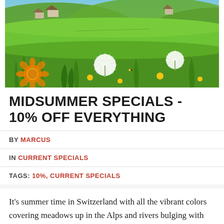[Figure (photo): Aerial/ground-level photo of a Swiss Alpine meadow in summer with bright green grass, yellow wildflowers (dandelions), white dandelion puffs in foreground, farm buildings visible on the hillside in the background under a blue sky.]
MIDSUMMER SPECIALS - 10% OFF EVERYTHING
BY MARCUS
IN CURRENT SPECIALS
TAGS: 10%, CURRENT SPECIALS
It's summer time in Switzerland with all the vibrant colors covering meadows up in the Alps and rivers bulging with cool crisp rapids. We invite you to enjoy the summer vibes with...